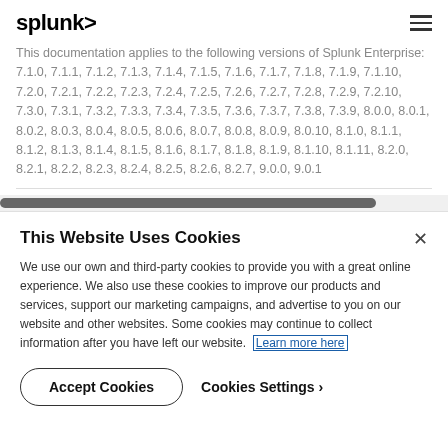splunk>
This documentation applies to the following versions of Splunk Enterprise: 7.1.0, 7.1.1, 7.1.2, 7.1.3, 7.1.4, 7.1.5, 7.1.6, 7.1.7, 7.1.8, 7.1.9, 7.1.10, 7.2.0, 7.2.1, 7.2.2, 7.2.3, 7.2.4, 7.2.5, 7.2.6, 7.2.7, 7.2.8, 7.2.9, 7.2.10, 7.3.0, 7.3.1, 7.3.2, 7.3.3, 7.3.4, 7.3.5, 7.3.6, 7.3.7, 7.3.8, 7.3.9, 8.0.0, 8.0.1, 8.0.2, 8.0.3, 8.0.4, 8.0.5, 8.0.6, 8.0.7, 8.0.8, 8.0.9, 8.0.10, 8.1.0, 8.1.1, 8.1.2, 8.1.3, 8.1.4, 8.1.5, 8.1.6, 8.1.7, 8.1.8, 8.1.9, 8.1.10, 8.1.11, 8.2.0, 8.2.1, 8.2.2, 8.2.3, 8.2.4, 8.2.5, 8.2.6, 8.2.7, 9.0.0, 9.0.1
This Website Uses Cookies
We use our own and third-party cookies to provide you with a great online experience. We also use these cookies to improve our products and services, support our marketing campaigns, and advertise to you on our website and other websites. Some cookies may continue to collect information after you have left our website. Learn more here
Accept Cookies
Cookies Settings ›